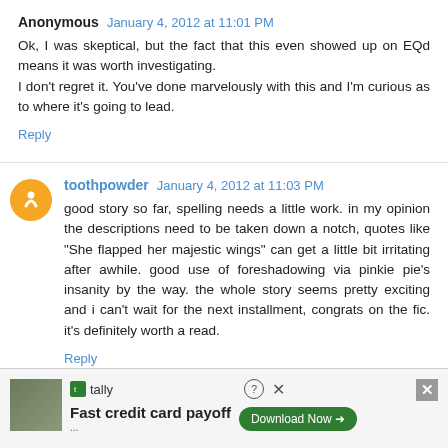Anonymous  January 4, 2012 at 11:01 PM
Ok, I was skeptical, but the fact that this even showed up on EQd means it was worth investigating.
I don't regret it. You've done marvelously with this and I'm curious as to where it's going to lead.
Reply
toothpowder  January 4, 2012 at 11:03 PM
good story so far, spelling needs a little work. in my opinion the descriptions need to be taken down a notch, quotes like "She flapped her majestic wings" can get a little bit irritating after awhile. good use of foreshadowing via pinkie pie's insanity by the way. the whole story seems pretty exciting and i can't wait for the next installment, congrats on the fic. it's definitely worth a read.
Reply
tally  Fast credit card payoff  Download Now